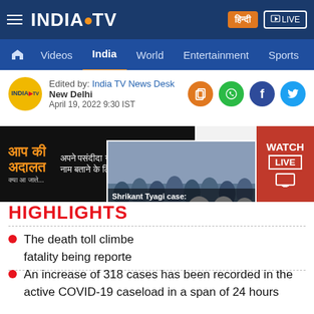India TV News
Edited by: India TV News Desk
New Delhi
April 19, 2022 9:30 IST
[Figure (screenshot): Aap Ki Adalat banner advertisement with Hindi text and a live video thumbnail showing Shrikant Tyagi case: Community rallies behind self-proclaimed politician,...]
HIGHLIGHTS
The death toll climbed fatality being reported
An increase of 318 cases has been recorded in the active COVID-19 caseload in a span of 24 hours